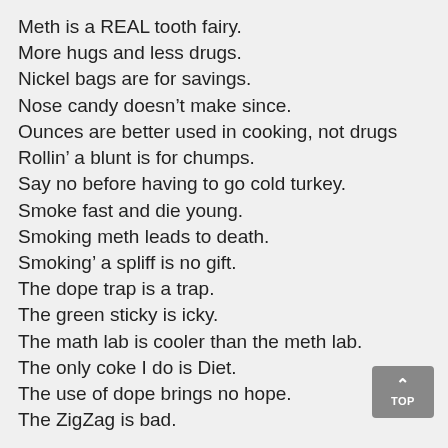Meth is a REAL tooth fairy.
More hugs and less drugs.
Nickel bags are for savings.
Nose candy doesn’t make since.
Ounces are better used in cooking, not drugs
Rollin’ a blunt is for chumps.
Say no before having to go cold turkey.
Smoke fast and die young.
Smoking meth leads to death.
Smoking’ a spliff is no gift.
The dope trap is a trap.
The green sticky is icky.
The math lab is cooler than the meth lab.
The only coke I do is Diet.
The use of dope brings no hope.
The ZigZag is bad.